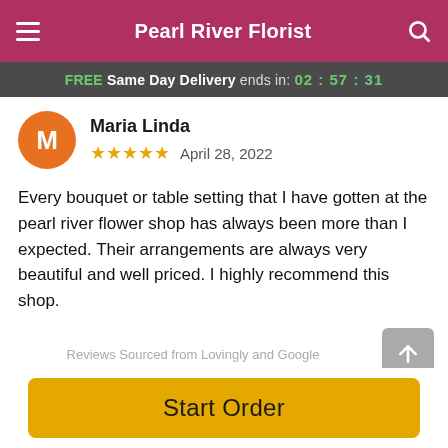Pearl River Florist
FREE Same Day Delivery ends in: 02:57:31
Maria Linda
★★★★★  April 28, 2022
Every bouquet or table setting that I have gotten at the pearl river flower shop has always been more than I expected. Their arrangements are always very beautiful and well priced. I highly recommend this shop.
Reviews Sourced from Lovingly and Google
You May Also Like
Start Order